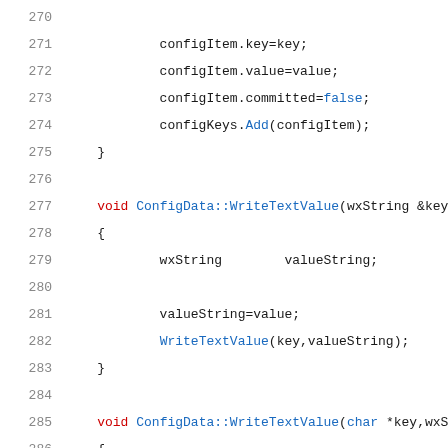[Figure (screenshot): Source code listing showing C++ function definitions for ConfigData class, lines 270-292. Includes WriteTextValue method implementations.]